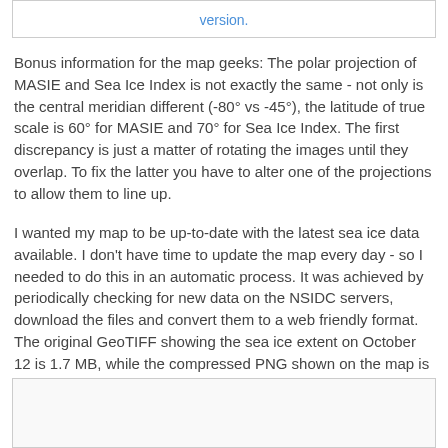version.
Bonus information for the map geeks: The polar projection of MASIE and Sea Ice Index is not exactly the same - not only is the central meridian different (-80° vs -45°), the latitude of true scale is 60° for MASIE and 70° for Sea Ice Index. The first discrepancy is just a matter of rotating the images until they overlap. To fix the latter you have to alter one of the projections to allow them to line up.
I wanted my map to be up-to-date with the latest sea ice data available. I don't have time to update the map every day - so I needed to do this in an automatic process. It was achieved by periodically checking for new data on the NSIDC servers, download the files and convert them to a web friendly format. The original GeoTIFF showing the sea ice extent on October 12 is 1.7 MB, while the compressed PNG shown on the map is just 12 KB, with the same 4 km resolution!